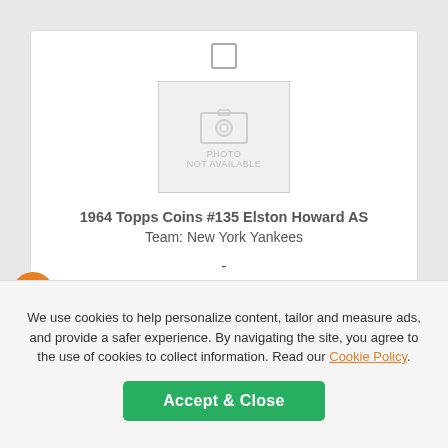[Figure (photo): Photo placeholder for 1964 Topps Coins card image — camera icon with 'PHOTO NOT AVAILABLE' text on grey background]
1964 Topps Coins #135 Elston Howard AS
Team: New York Yankees
-
NM
1
$3.00
We use cookies to help personalize content, tailor and measure ads, and provide a safer experience. By navigating the site, you agree to the use of cookies to collect information. Read our Cookie Policy.
Accept & Close